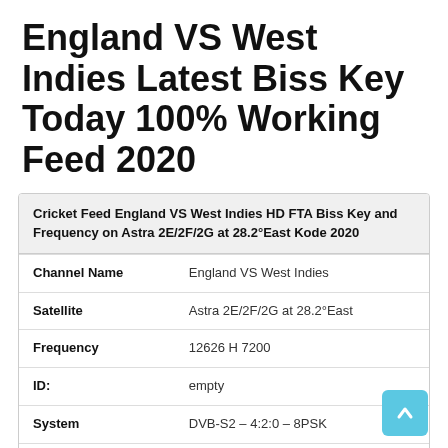England VS West Indies Latest Biss Key Today 100% Working Feed 2020
|  |  |
| --- | --- |
| Cricket Feed England VS West Indies HD FTA Biss Key and Frequency on Astra 2E/2F/2G at 28.2°East Kode 2020 |  |
| Channel Name | England VS West Indies |
| Satellite | Astra 2E/2F/2G at 28.2°East |
| Frequency | 12626 H 7200 |
| ID: | empty |
| System | DVB-S2 – 4:2:0 – 8PSK |
| Today Update | July 11.07.2020 |
| Biss Keys | 12 34 5A A0 20 20 07 47 |